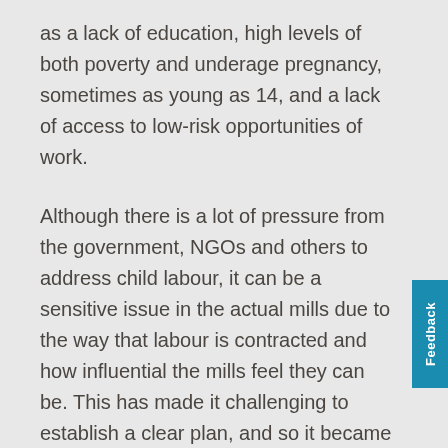as a lack of education, high levels of both poverty and underage pregnancy, sometimes as young as 14, and a lack of access to low-risk opportunities of work.
Although there is a lot of pressure from the government, NGOs and others to address child labour, it can be a sensitive issue in the actual mills due to the way that labour is contracted and how influential the mills feel they can be. This has made it challenging to establish a clear plan, and so it became clear that a progressive approach would be required. Together with our global partner Proforest and their local